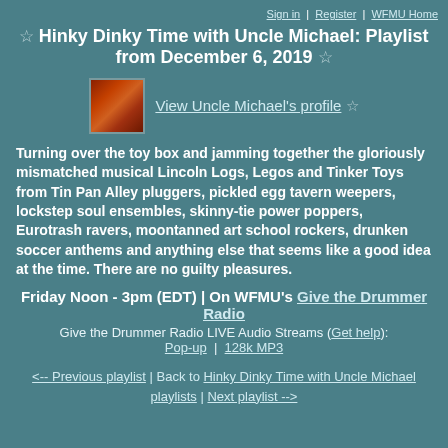Sign in | Register | WFMU Home
☆ Hinky Dinky Time with Uncle Michael: Playlist from December 6, 2019 ☆
[Figure (photo): Profile thumbnail photo of Uncle Michael - reddish autumn image]
View Uncle Michael's profile ☆
Turning over the toy box and jamming together the gloriously mismatched musical Lincoln Logs, Legos and Tinker Toys from Tin Pan Alley pluggers, pickled egg tavern weepers, lockstep soul ensembles, skinny-tie power poppers, Eurotrash ravers, moontanned art school rockers, drunken soccer anthems and anything else that seems like a good idea at the time. There are no guilty pleasures.
Friday Noon - 3pm (EDT) | On WFMU's Give the Drummer Radio
Give the Drummer Radio LIVE Audio Streams (Get help): Pop-up | 128k MP3
<-- Previous playlist | Back to Hinky Dinky Time with Uncle Michael playlists | Next playlist -->